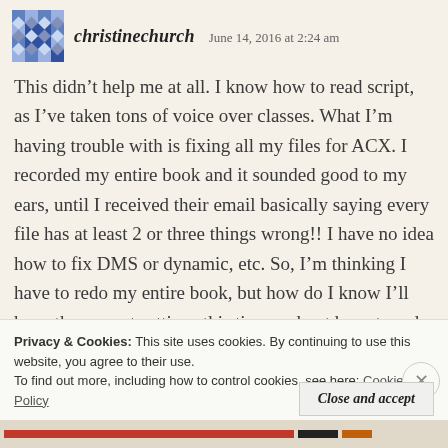christinechurch   June 14, 2016 at 2:24 am
This didn’t help me at all. I know how to read script, as I’ve taken tons of voice over classes. What I’m having trouble with is fixing all my files for ACX. I recorded my entire book and it sounded good to my ears, until I received their email basically saying every file has at least 2 or three things wrong!! I have no idea how to fix DMS or dynamic, etc. So, I’m thinking I have to redo my entire book, but how do I know I’ll have the correct settings this time and not have to redo the book a third time??
Privacy & Cookies: This site uses cookies. By continuing to use this website, you agree to their use.
To find out more, including how to control cookies, see here: Cookie Policy